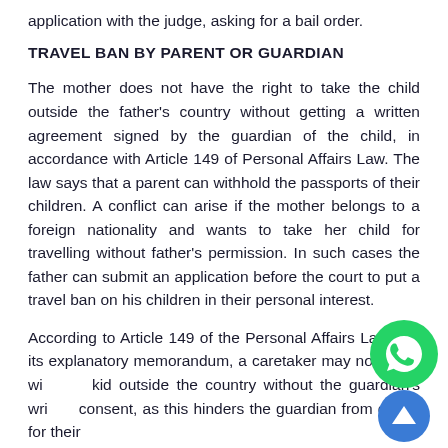application with the judge, asking for a bail order.
TRAVEL BAN BY PARENT OR GUARDIAN
The mother does not have the right to take the child outside the father's country without getting a written agreement signed by the guardian of the child, in accordance with Article 149 of Personal Affairs Law. The law says that a parent can withhold the passports of their children. A conflict can arise if the mother belongs to a foreign nationality and wants to take her child for travelling without father's permission. In such cases the father can submit an application before the court to put a travel ban on his children in their personal interest.
According to Article 149 of the Personal Affairs Law and its explanatory memorandum, a caretaker may not travel with the kid outside the country without the guardian's written consent, as this hinders the guardian from caring for their